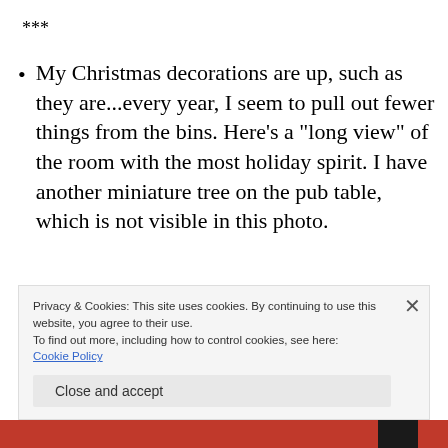***
My Christmas decorations are up, such as they are...every year, I seem to pull out fewer things from the bins.  Here’s a “long view” of the room with the most holiday spirit.  I have another miniature tree on the pub table, which is not visible in this photo.
Privacy & Cookies: This site uses cookies. By continuing to use this website, you agree to their use.
To find out more, including how to control cookies, see here: Cookie Policy
Close and accept